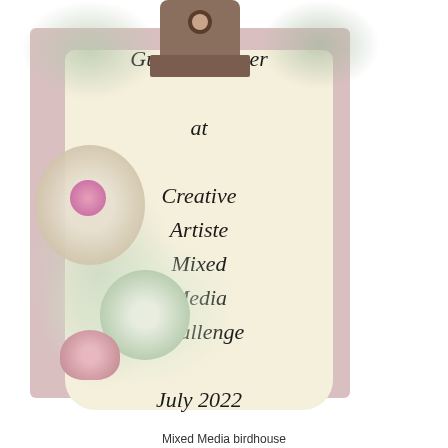[Figure (illustration): Decorative illustration showing a clipboard with a metal binder clip at top, a cream-colored paper scroll with cursive script text reading 'Guest Designer at Creative Artiste Mixed Media Challenge July 2022', surrounded by vintage floral arrangements including green foliage, white/cream roses, pink roses, and a pearl and rhinestone brooch with pink gemstone center, all on a muted pink background.]
Mixed Media birdhouse